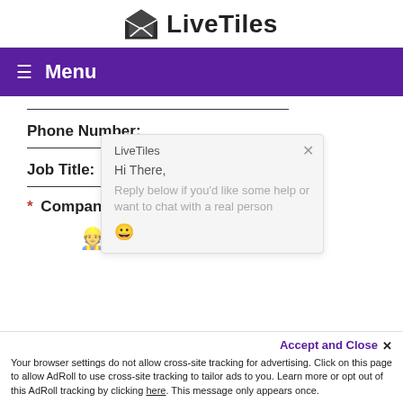[Figure (logo): LiveTiles logo with envelope icon and text 'LiveTiles']
≡ Menu
Phone Number:
[Figure (screenshot): LiveTiles chat popup: 'Hi There, Reply below if you'd like some help or want to chat with a real person 😀']
Job Title:
* Company Nam…
Accept and Close ✕
Your browser settings do not allow cross-site tracking for advertising. Click on this page to allow AdRoll to use cross-site tracking to tailor ads to you. Learn more or opt out of this AdRoll tracking by clicking here. This message only appears once.